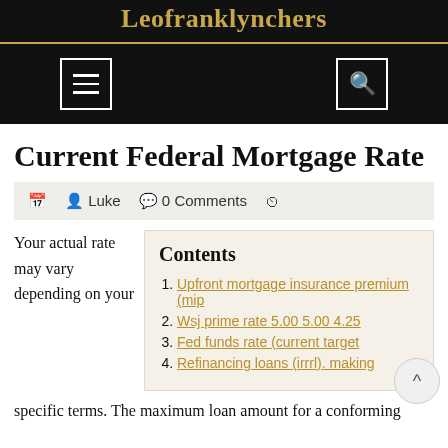Leofranklynchers
Current Federal Mortgage Rate
Luke  0 Comments
Your actual rate may vary depending on your specific terms. The maximum loan amount for a conforming
| # | Item |
| --- | --- |
| 1. | Upfront mortgage insurance premium (mip |
| 2. | Wsj prime rate 5.00 5.00 4.25 |
| 3. | Fed funds rate (current target |
| 4. | Refinancing loans (irrrl). making |